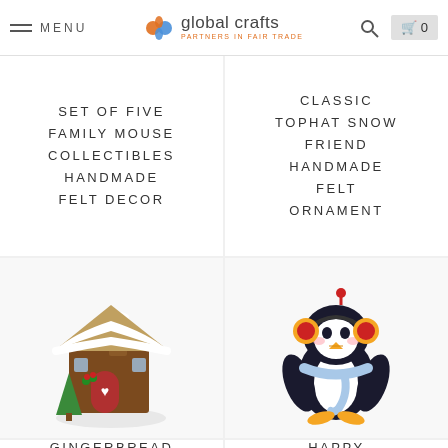MENU | global crafts PARTNERS IN FAIR TRADE | [search] | [cart] 0
SET OF FIVE FAMILY MOUSE COLLECTIBLES HANDMADE FELT DECOR
CLASSIC TOPHAT SNOW FRIEND HANDMADE FELT ORNAMENT
[Figure (photo): Handmade felt gingerbread cabin ornament with snow on roof, green tree, red door with white heart]
[Figure (photo): Handmade felt happy penguin ornament wearing yellow ear muffs and light blue scarf]
GINGERBREAD CABIN HANDMADE
HAPPY PENGUIN HANDMADE